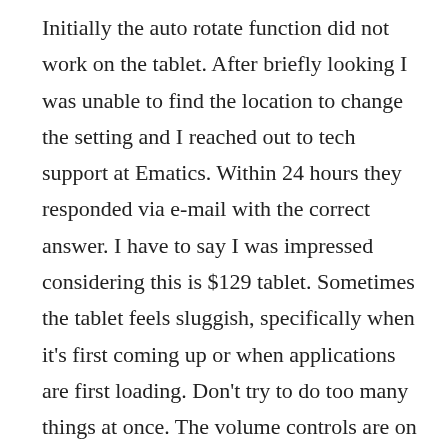Initially the auto rotate function did not work on the tablet. After briefly looking I was unable to find the location to change the setting and I reached out to tech support at Ematics. Within 24 hours they responded via e-mail with the correct answer. I have to say I was impressed considering this is $129 tablet. Sometimes the tablet feels sluggish, specifically when it's first coming up or when applications are first loading. Don't try to do too many things at once. The volume controls are on screen display, but they only seem to appear in landscape mode. The device is light enough to hold with one hand to use as a reader, but also the screen size is large enough to use as display for multimedia. I still have an open question on Ematic's policy on updates. Will they update the software on this or not? Will I keep this tablet to use?